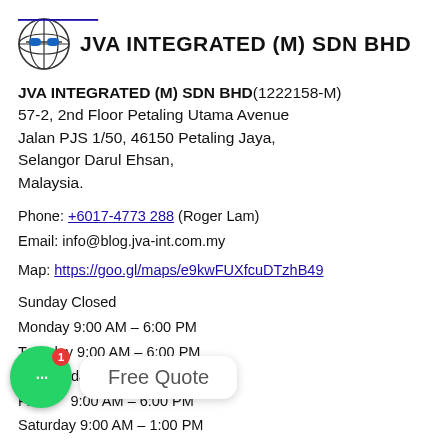(link at top)
[Figure (logo): JVA Integrated globe logo with blue sunglasses]
JVA INTEGRATED (M) SDN BHD
JVA INTEGRATED (M) SDN BHD(1222158-M)
57-2, 2nd Floor Petaling Utama Avenue
Jalan PJS 1/50, 46150 Petaling Jaya,
Selangor Darul Ehsan,
Malaysia.
Phone: +6017-4773 288 (Roger Lam)
Email: info@blog.jva-int.com.my
Map: https://goo.gl/maps/e9kwFUXfcuDTzhB49
Sunday Closed
Monday 9:00 AM – 6:00 PM
Tuesday 9:00 AM – 6:00 PM
Wednesday 9:00 AM – 6:00 PM
Friday 9:00 AM – 6:00 PM
Saturday 9:00 AM – 1:00 PM
[Figure (screenshot): Chat widget with green bubble showing ellipsis dots and notification badge 1, alongside Free Quote button]